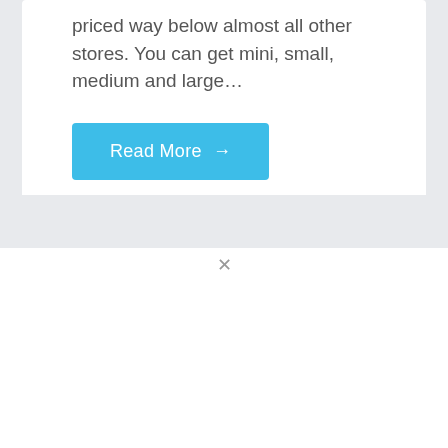priced way below almost all other stores. You can get mini, small, medium and large…
Read More →